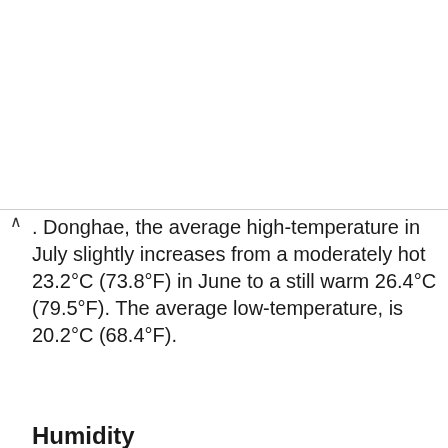In Donghae, the average high-temperature in July slightly increases from a moderately hot 23.2°C (73.8°F) in June to a still warm 26.4°C (79.5°F). The average low-temperature, is 20.2°C (68.4°F).
Humidity
In Donghae, the average relative humidity in July is 82.5%.
July
Today  Tomorrow  10 days  Climate